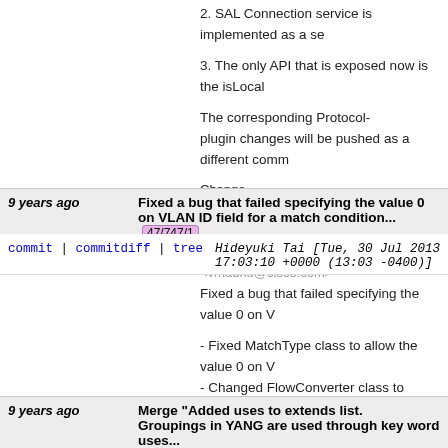2. SAL Connection service is implemented as a se
3. The only API that is exposed now is the isLocal
The corresponding Protocol-plugin changes will be pushed as a different comm
Change-Id: I0ffad694b1a21ff4ec7e2139bb81a398412b9de
Signed-off-by: Madhu Venugopal <vmadhu@cisco.com>
9 years ago   Fixed a bug that failed specifying the value 0 on VLAN ID field for a match condition... 47/747/1
commit | commitdiff | tree   Hideyuki Tai [Tue, 30 Jul 2013 17:03:10 +0000 (13:03 -0400)]
Fixed a bug that failed specifying the value 0 on V
- Fixed MatchType class to allow the value 0 on V
- Changed FlowConverter class to convert the val versa.
Signed-off-by: Hideyuki Tai <h-tai@cd.jp.nec.com>
9 years ago   Merge "Added uses to extends list. Groupings in YANG are used through key word uses...